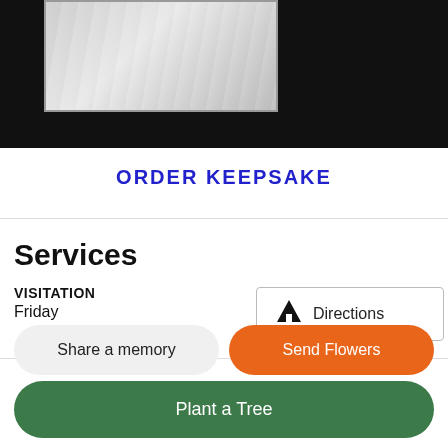[Figure (photo): Partial view of a person in white fabric/clothing against a dark background]
ORDER KEEPSAKE
Services
VISITATION
Friday
Directions
Share a memory
Send Flowers
Plant a Tree